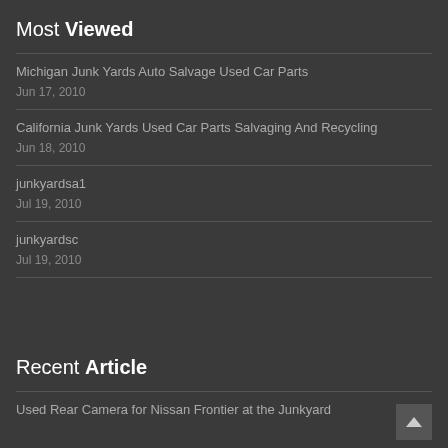Most Viewed
Michigan Junk Yards Auto Salvage Used Car Parts
Jun 17, 2010
California Junk Yards Used Car Parts Salvaging And Recycling
Jun 18, 2010
junkyardsa1
Jul 19, 2010
junkyardsc
Jul 19, 2010
Recent Article
Used Rear Camera for Nissan Frontier at the Junkyard